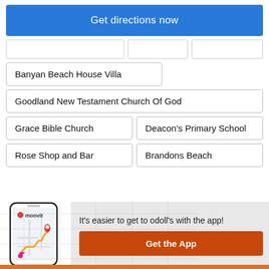Get directions now
Banyan Beach House Villa
Goodland New Testament Church Of God
Grace Bible Church
Deacon's Primary School
Rose Shop and Bar
Brandons Beach
[Figure (screenshot): Moovit app screenshot showing a map with a route]
It's easier to get to odoll's with the app!
Get the App